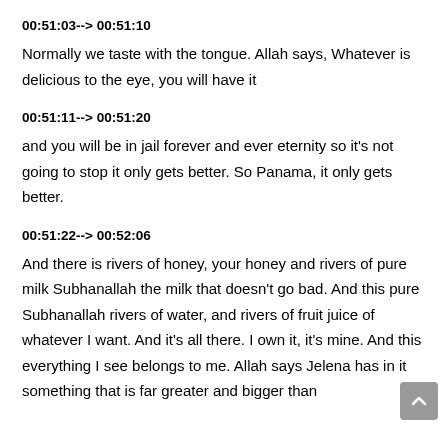00:51:03--> 00:51:10
Normally we taste with the tongue. Allah says, Whatever is delicious to the eye, you will have it
00:51:11--> 00:51:20
and you will be in jail forever and ever eternity so it's not going to stop it only gets better. So Panama, it only gets better.
00:51:22--> 00:52:06
And there is rivers of honey, your honey and rivers of pure milk Subhanallah the milk that doesn't go bad. And this pure Subhanallah rivers of water, and rivers of fruit juice of whatever I want. And it's all there. I own it, it's mine. And this everything I see belongs to me. Allah says Jelena has in it something that is far greater and bigger than